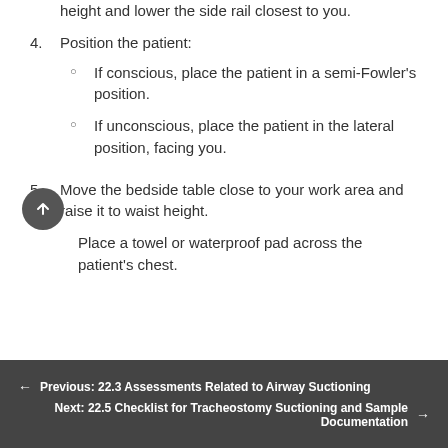3. Adjust the bed to a comfortable working height and lower the side rail closest to you.
4. Position the patient:
If conscious, place the patient in a semi-Fowler's position.
If unconscious, place the patient in the lateral position, facing you.
5. Move the bedside table close to your work area and raise it to waist height.
Place a towel or waterproof pad across the patient's chest.
← Previous: 22.3 Assessments Related to Airway Suctioning
Next: 22.5 Checklist for Tracheostomy Suctioning and Sample Documentation →